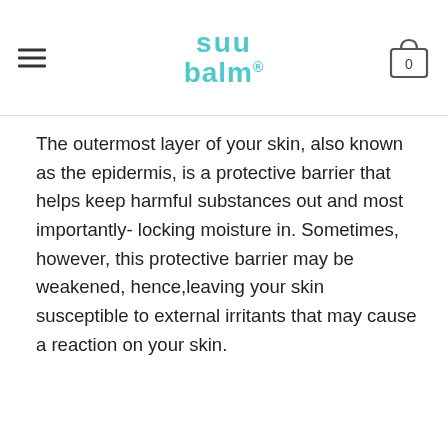suu balm [logo with hamburger menu and cart icon showing 0]
The outermost layer of your skin, also known as the epidermis, is a protective barrier that helps keep harmful substances out and most importantly- locking moisture in. Sometimes, however, this protective barrier may be weakened, hence,leaving your skin susceptible to external irritants that may cause a reaction on your skin.